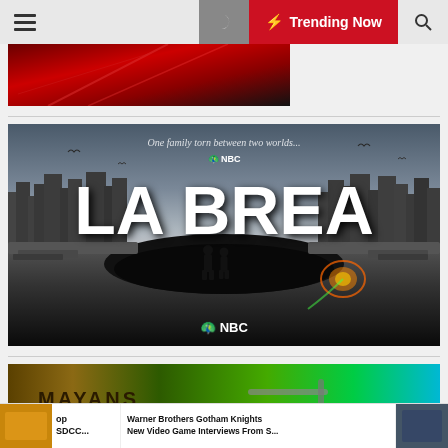Trending Now
[Figure (screenshot): Red banner/hero image partially visible at top]
[Figure (photo): LA BREA NBC TV show promotional image. Text: 'One family torn between two worlds...' NBC logo, 'LA BREA' in large letters, NBC peacock logo at bottom]
[Figure (photo): Mayans MC TV show promotional image showing a man with motorcycle club jacket reading 'MAYANS']
op SDCC...
[Figure (photo): Small thumbnail image of group of people]
Warner Brothers Gotham Knights New Video Game Interviews From S...
[Figure (photo): Small thumbnail image on right side]